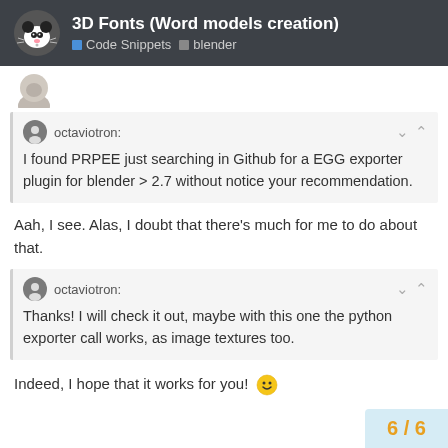3D Fonts (Word models creation) — Code Snippets, blender
[Figure (screenshot): Partial avatar image at top of post]
octaviotron:
I found PRPEE just searching in Github for a EGG exporter plugin for blender > 2.7 without notice your recommendation.
Aah, I see. Alas, I doubt that there's much for me to do about that.
octaviotron:
Thanks! I will check it out, maybe with this one the python exporter call works, as image textures too.
Indeed, I hope that it works for you! 🙂
6 / 6